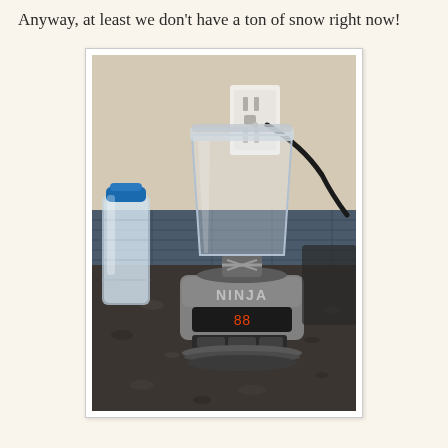Anyway, at least we don't have a ton of snow right now!
[Figure (photo): A Ninja blender with a clear cup/container sitting on a dark granite countertop. There is a water bottle with a blue cap to the left, and a white electrical outlet on the wall behind the blender with a black cord plugged into it. The backsplash has dark blue/grey tiles.]